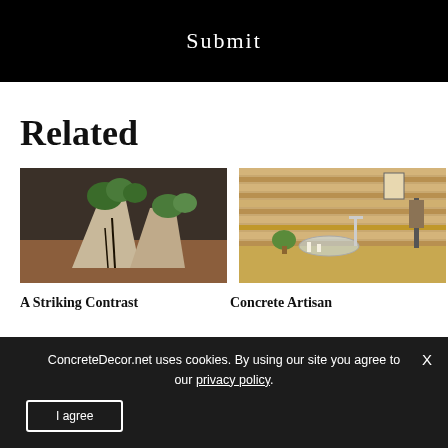Submit
Related
[Figure (photo): Outdoor concrete sculptural planter with plants and greenery on a terrace]
[Figure (photo): Bathroom vanity with glass vessel sink, wood counter, and striped wood wall paneling]
A Striking Contrast
Concrete Artisan
ConcreteDecor.net uses cookies. By using our site you agree to our privacy policy.
I agree